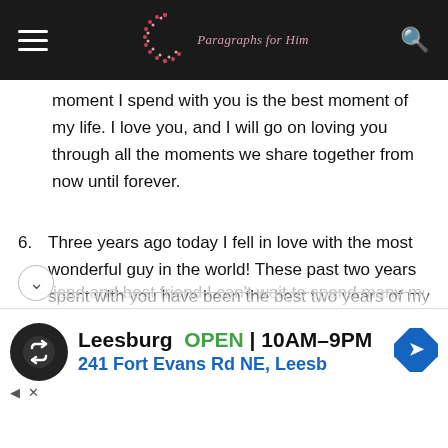Paragraphs for Him
moment I spend with you is the best moment of my life. I love you, and I will go on loving you through all the moments we share together from now until forever.
6. Three years ago today I fell in love with the most wonderful guy in the world! These past two years spent with you have been the best two years of my life. We've come so far even though we've had some difficult times and being there at my worst and putting up with me, even though it's kind of hard sometimes but I wouldn't want it to be anyone else! I appreciate everything you have done for me and do for me. I couldn't have asked for a better
xfriend and best friend I can't wait to spend many more
[Figure (screenshot): Advertisement banner: Leesburg OPEN 10AM-9PM, 241 Fort Evans Rd NE, Leesb]